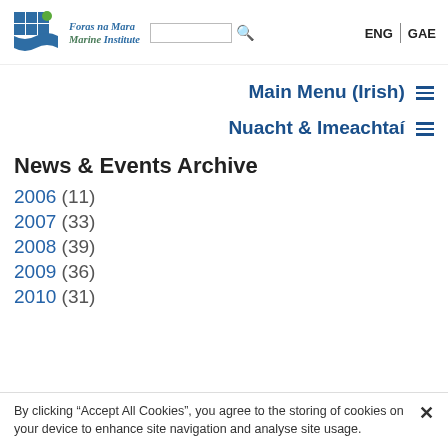[Figure (logo): Foras na Mara Marine Institute logo with blue grid/wave icon]
Main Menu (Irish) ≡
Nuacht & Imeachtaí ≡
News & Events Archive
2006 (11)
2007 (33)
2008 (39)
2009 (36)
2010 (31)
By clicking "Accept All Cookies", you agree to the storing of cookies on your device to enhance site navigation and analyse site usage.